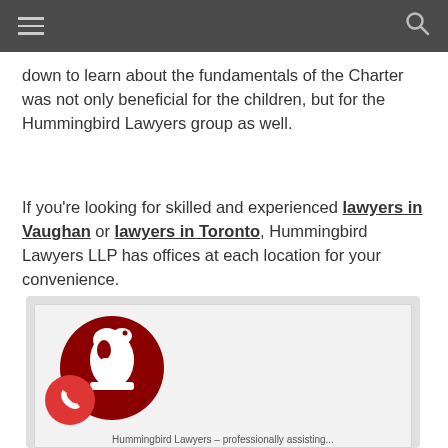[Navigation bar with hamburger menu and search icon]
down to learn about the fundamentals of the Charter was not only beneficial for the children, but for the Hummingbird Lawyers group as well.
If you're looking for skilled and experienced lawyers in Vaughan or lawyers in Toronto, Hummingbird Lawyers LLP has offices at each location for your convenience.
[Figure (logo): Hummingbird Lawyers LLP logo — dark red circle containing a white chess knight piece, with a red phone call button overlay in the lower left corner. A light grey card background with partial text at the bottom edge.]